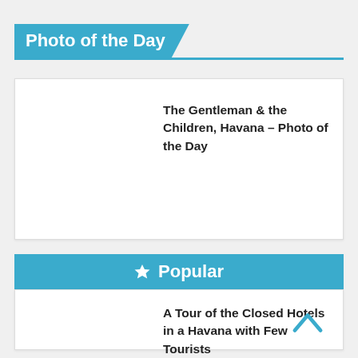Photo of the Day
The Gentleman & the Children, Havana – Photo of the Day
★ Popular
A Tour of the Closed Hotels in a Havana with Few Tourists